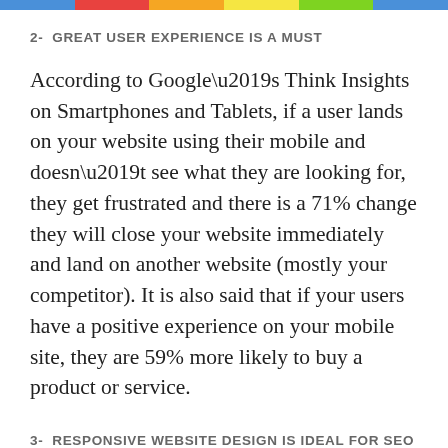2- GREAT USER EXPERIENCE IS A MUST
According to Google’s Think Insights on Smartphones and Tablets, if a user lands on your website using their mobile and doesn’t see what they are looking for, they get frustrated and there is a 71% change they will close your website immediately and land on another website (mostly your competitor). It is also said that if your users have a positive experience on your mobile site, they are 59% more likely to buy a product or service.
3- RESPONSIVE WEBSITE DESIGN IS IDEAL FOR SEO